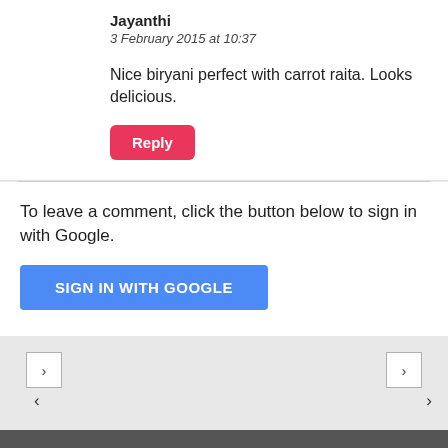Jayanthi
3 February 2015 at 10:37
Nice biryani perfect with carrot raita. Looks delicious.
Reply
To leave a comment, click the button below to sign in with Google.
SIGN IN WITH GOOGLE